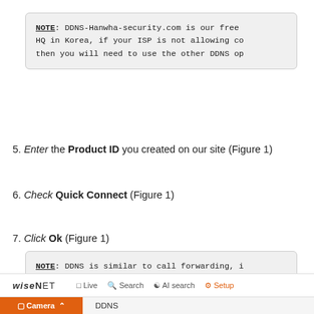NOTE: DDNS-Hanwha-security.com is our free HQ in Korea, if your ISP is not allowing co then you will need to use the other DDNS op
5. Enter the Product ID you created on our site (Figure 1)
6. Check Quick Connect (Figure 1)
7. Click Ok (Figure 1)
NOTE: DDNS is similar to call forwarding, i the clients public IP, the recorder will pi the server a known public IP, if your port configured, you will fail to log in
WISENET  Live  Search  AI search  Setup  Camera  DDNS